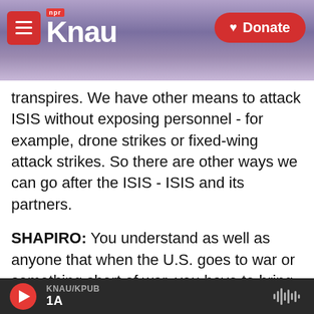KNAU / NPR - Donate
transpires. We have other means to attack ISIS without exposing personnel - for example, drone strikes or fixed-wing attack strikes. So there are other ways we can go after the ISIS - ISIS and its partners.
SHAPIRO: You understand as well as anyone that when the U.S. goes to war or something short of war, you have to bring the American people and the politicians along with you. And in this case, the House of Representatives has just voted to limit the administration's authority under the War Powers Act. The Senate may soon hold a similar
KNAU/KPUB 1A